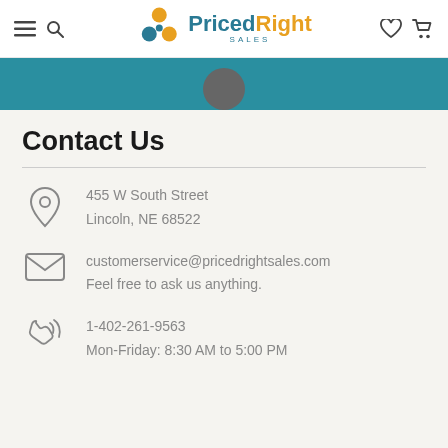[Figure (logo): PricedRight Sales logo with orange circle icon and teal/orange text]
Contact Us
455 W South Street
Lincoln, NE 68522
customerservice@pricedrightsales.com
Feel free to ask us anything.
1-402-261-9563
Mon-Friday: 8:30 AM to 5:00 PM